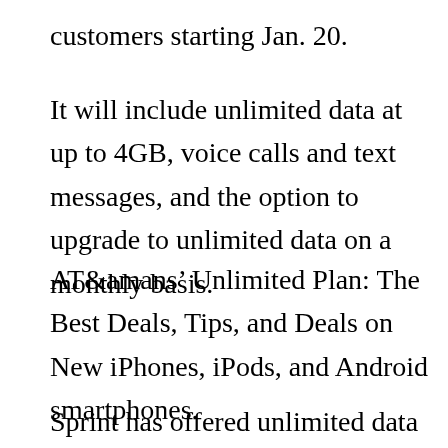customers starting Jan. 20.
It will include unlimited data at up to 4GB, voice calls and text messages, and the option to upgrade to unlimited data on a monthly basis.
AT&amans’ Unlimited Plan: The Best Deals, Tips, and Deals on New iPhones, iPods, and Android smartphones.
Sprint has offered unlimited data since